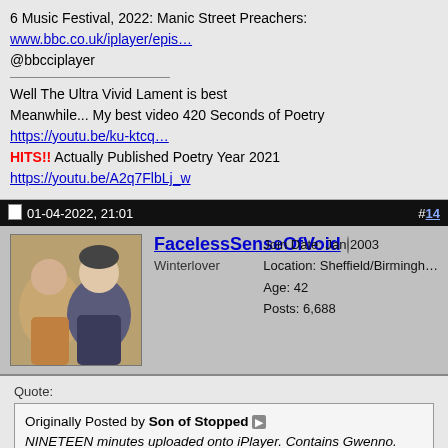6 Music Festival, 2022: Manic Street Preachers: www.bbc.co.uk/iplayer/epi… @bbcciplayer

Well The Ultra Vivid Lament is best
Meanwhile... My best video 420 Seconds of Poetry https://youtu.be/ku-ktcq… HITS!! Actually Published Poetry Year 2021 https://youtu.be/A2q7FlbLj_w
01-04-2022, 21:01  #14
FacelessSenseOfVoid
Winterlover
Join Date: Jan 2003
Location: Sheffield/Birmingham
Age: 42
Posts: 6,688
Quote:
Originally Posted by Son of Stopped
NINETEEN minutes uploaded onto iPlayer. Contains Gwenno.

6 Music Festival, 2022: Manic Street Preachers:
www.bbc.co.uk/iplayer/episode/p0bxk6zr via @bbcciplayer
Nice!

Seems as though it's just the last four songs of the set.